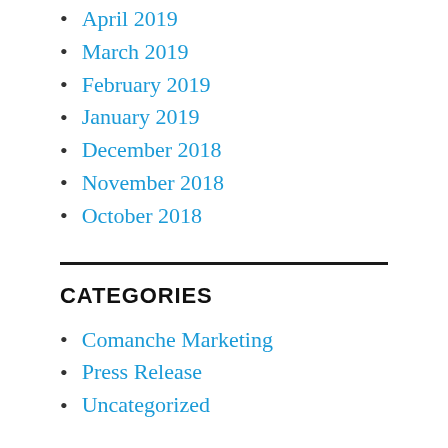April 2019
March 2019
February 2019
January 2019
December 2018
November 2018
October 2018
CATEGORIES
Comanche Marketing
Press Release
Uncategorized